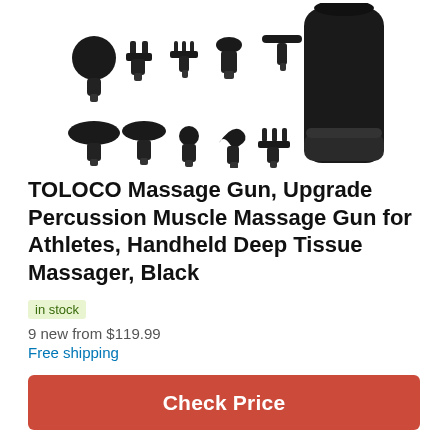[Figure (photo): Product photo showing TOLOCO Massage Gun with multiple attachment heads displayed in front of a black cylindrical massager device, on white background.]
TOLOCO Massage Gun, Upgrade Percussion Muscle Massage Gun for Athletes, Handheld Deep Tissue Massager, Black
in stock
9 new from $119.99
Free shipping
Check Price